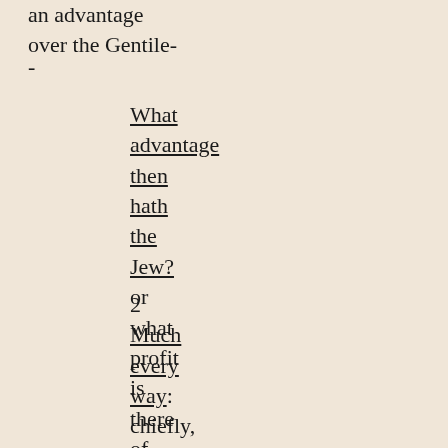an advantage over the Gentile-
-
What advantage then hath the Jew? or what profit is there of circumcision?
2 Much every way: chiefly, because that unto